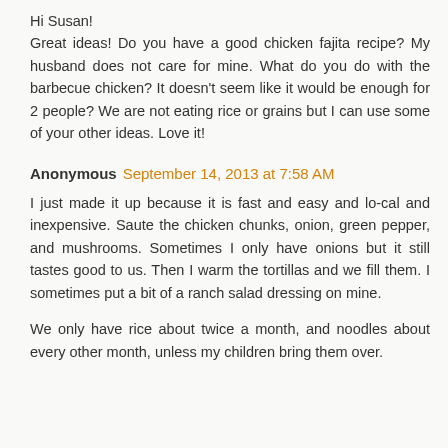Hi Susan! Great ideas! Do you have a good chicken fajita recipe? My husband does not care for mine. What do you do with the barbecue chicken? It doesn't seem like it would be enough for 2 people? We are not eating rice or grains but I can use some of your other ideas. Love it!
Anonymous September 14, 2013 at 7:58 AM
I just made it up because it is fast and easy and lo-cal and inexpensive. Saute the chicken chunks, onion, green pepper, and mushrooms. Sometimes I only have onions but it still tastes good to us. Then I warm the tortillas and we fill them. I sometimes put a bit of a ranch salad dressing on mine.
We only have rice about twice a month, and noodles about every other month, unless my children bring them over.